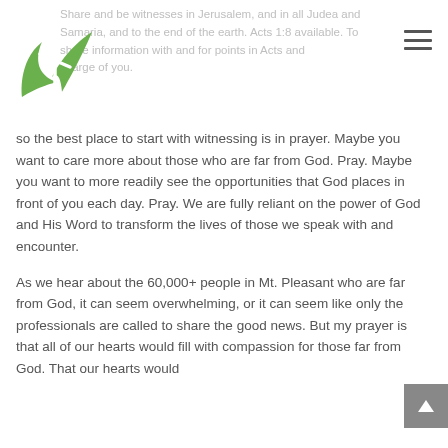[Figure (logo): Green leaf/plant logo with a cross symbol, church or religious organization logo]
So the best place to start with witnessing is in prayer. Maybe you want to care more about those who are far from God. Pray. Maybe you want to more readily see the opportunities that God places in front of you each day. Pray. We are fully reliant on the power of God and His Word to transform the lives of those we speak with and encounter.
As we hear about the 60,000+ people in Mt. Pleasant who are far from God, it can seem overwhelming, or it can seem like only the professionals are called to share the good news. But my prayer is that all of our hearts would fill with compassion for those far from God. That our hearts would